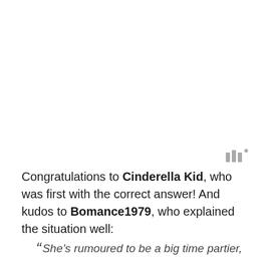[Figure (logo): Small gray music/audio icon resembling sound bars or waveform]
Congratulations to Cinderella Kid, who was first with the correct answer! And kudos to Bomance1979, who explained the situation well:
“ She’s rumoured to be a big time partier,